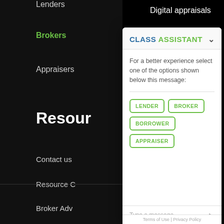Lenders
Brokers
Appraisers
Digital appraisals
Resour
Contact us
Resource C
Broker Adv
CLASS ASSISTANT
For a better experience select one of the options shown below this message:
LENDER
BROKER
BORROWER
APPRAISER
Type a message...
Terms of Use | Privacy Policy